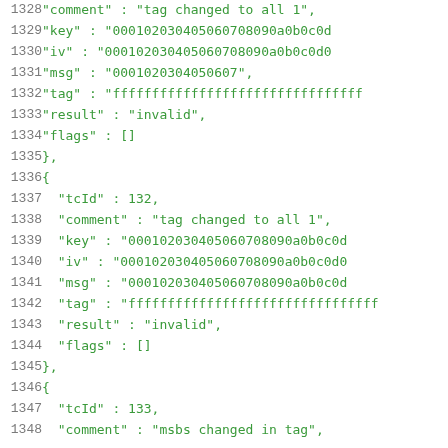Code listing lines 1328-1348 showing JSON test vector data with fields: comment, key, iv, msg, tag, result, flags, tcId for cryptographic test cases